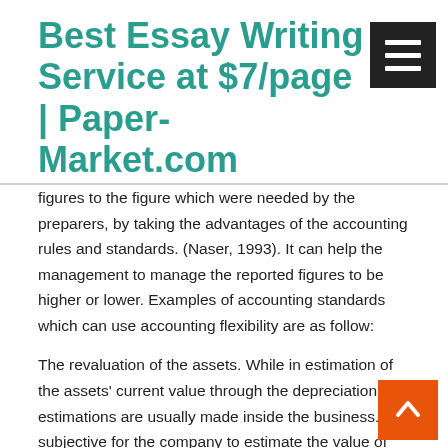Best Essay Writing Service at $7/page | Paper-Market.com
figures to the figure which were needed by the preparers, by taking the advantages of the accounting rules and standards. (Naser, 1993). It can help the management to manage the reported figures to be higher or lower. Examples of accounting standards which can use accounting flexibility are as follow:
The revaluation of the assets. While in estimation of the assets' current value through the depreciation, the estimations are usually made inside the business. It is subjective for the company to estimate the value of the assets. The management has the opportunity to estimate the value on the side of caution or optimism. When doing the estimation in the value of the it refers to the change of the assets, depreciation expenses the impairment losses. Therefore, the measurement of the assets